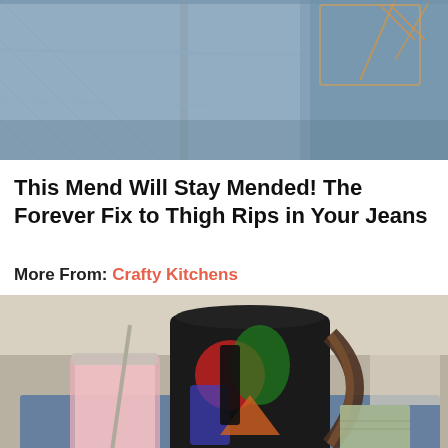[Figure (photo): Close-up photo of blue denim jeans fabric showing pockets and stitching]
This Mend Will Stay Mended! The Forever Fix to Thigh Rips in Your Jeans
More From: Crafty Kitchens
[Figure (photo): Photo of a colorful painted pitcher/jug with a pink drink in a mason jar with a straw, and a folded green cloth, on a blue surface]
[Figure (photo): Partially visible photo showing small white rectangular objects on a light surface]